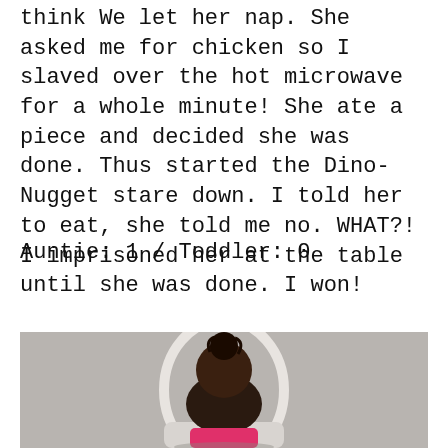think We let her nap. She asked me for chicken so I slaved over the hot microwave for a whole minute! She ate a piece and decided she was done. Thus started the Dino-Nugget stare down. I told her to eat, she told me no. WHAT?! I imprisoned her at the table until she was done. I won!
Auntie: 1 / Toddler: 0
[Figure (photo): Photo of a toddler with dark hair in a bun sitting in a white high chair, wearing a pink outfit, viewed from behind/side. Gray wall background.]